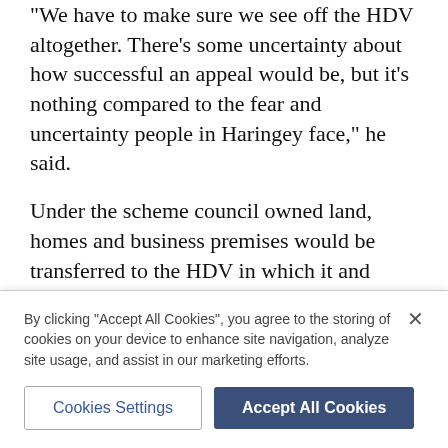“We have to make sure we see off the HDV altogether. There’s some uncertainty about how successful an appeal would be, but it’s nothing compared to the fear and uncertainty people in Haringey face,” he said.
Under the scheme council owned land, homes and business premises would be transferred to the HDV in which it and Lendlease would hold a 50/50 share.
Critics say the HDV is an attempt at social cleansing, moving poorer people out of the borough to make way for regenerated estates.
The council argues the plan will create 6,400 homes
By clicking “Accept All Cookies”, you agree to the storing of cookies on your device to enhance site navigation, analyze site usage, and assist in our marketing efforts.